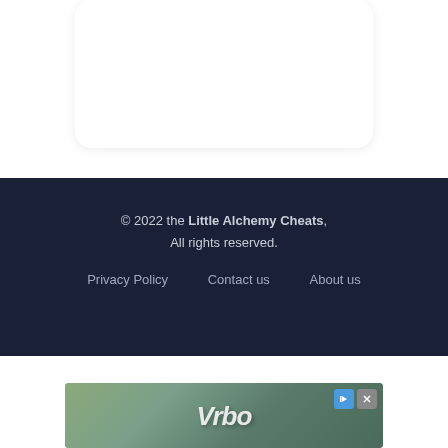[Figure (other): White rounded card panel at top of page]
© 2022 the Little Alchemy Cheats, All rights reserved. Privacy Policy   Contact us   About us
[Figure (photo): Vrbo advertisement banner showing a house exterior with blurred background]